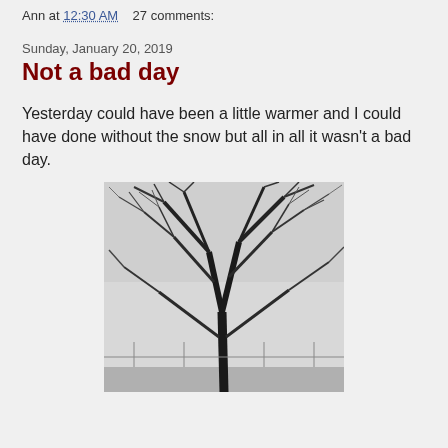Ann at 12:30 AM    27 comments:
Sunday, January 20, 2019
Not a bad day
Yesterday could have been a little warmer and I could have done without the snow but all in all it wasn't a bad day.
[Figure (photo): Black and white photograph of a large bare tree with many branches against a light winter sky, taken from below looking up. Some snow or wintry scene at the base.]